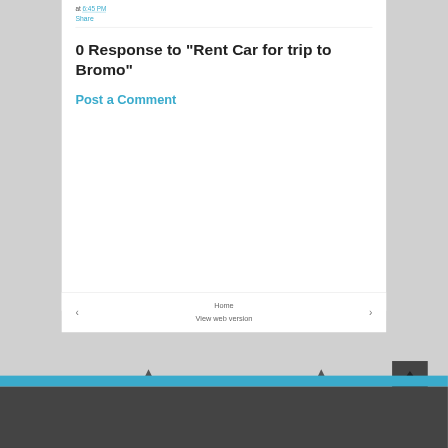at 6:45 PM
Share
0 Response to "Rent Car for trip to Bromo"
Post a Comment
Home
View web version
Copyright 2013 - 2019 Bromo Tour Package - Surabaya - Malang - Ijen Crater - Rifa Tour - All Rights Reserved Powered by Blogger